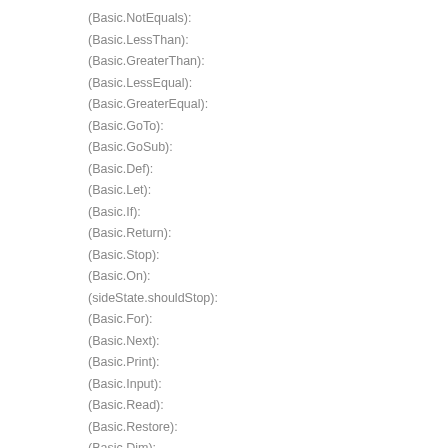(Basic.NotEquals):
(Basic.LessThan):
(Basic.GreaterThan):
(Basic.LessEqual):
(Basic.GreaterEqual):
(Basic.GoTo):
(Basic.GoSub):
(Basic.Def):
(Basic.Let):
(Basic.If):
(Basic.Return):
(Basic.Stop):
(Basic.On):
(sideState.shouldStop):
(Basic.For):
(Basic.Next):
(Basic.Print):
(Basic.Input):
(Basic.Read):
(Basic.Restore):
(Basic.Dim):
(Basic.Randomize):
(Basic.End):
(Basic.Program):
ARES-6/Babylon/benchmark.js: Added.
(this.performance.performance.now.runtimeTime):